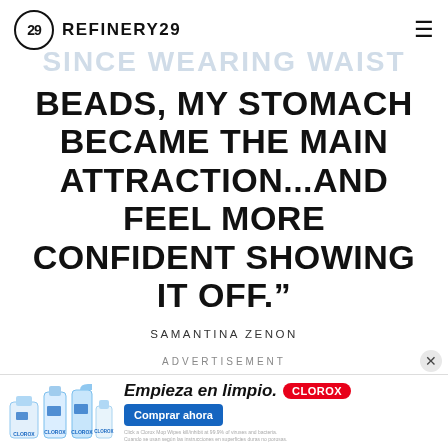REFINERY29
SINCE WEARING WAIST
BEADS, MY STOMACH BECAME THE MAIN ATTRACTION...AND FEEL MORE CONFIDENT SHOWING IT OFF."
SAMANTINA ZENON
ADVERTISEMENT
[Figure (other): Clorox advertisement banner with product bottles, Spanish tagline 'Empieza en limpio.' with Clorox logo and 'Comprar ahora' button]